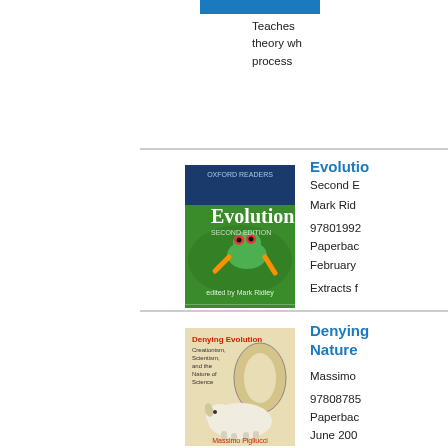Teaches theory wh process
[Figure (illustration): Book cover of Evolution, Second Edition by Mark Ridley. Features a red-eyed tree frog on a green leaf background with dark blue top. Publisher: Oxford Readers.]
Evolution
Second Edition
Mark Rid
9780199...
Paperback
February
Extracts f
[Figure (illustration): Book cover of Denying Evolution: Creationism, Scientism, and the Nature of Science by Massimo Pigliucci. Features cartoon illustration of a rhinoceros on a tan background with red text.]
Denying Evolution: Nature
Massimo
9780878...
Paperback
June 200